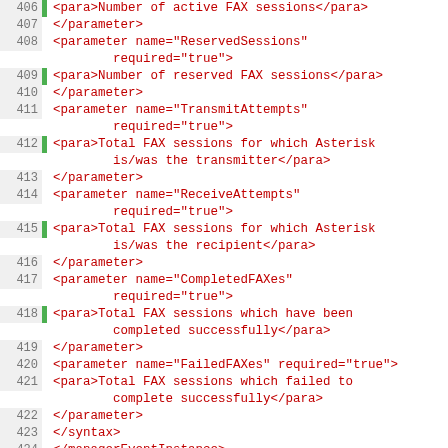[Figure (screenshot): Source code viewer showing XML documentation comments and C code, lines 406-430, with line numbers, green gutters, and syntax highlighting in red/dark blue/teal on white background.]